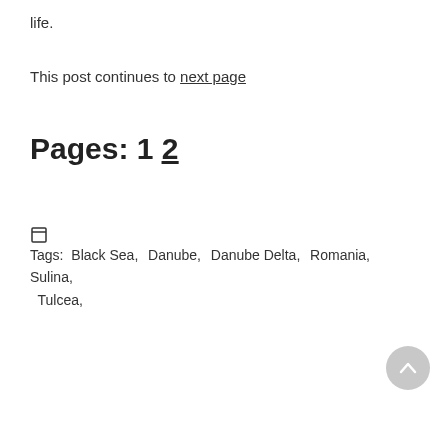life.
This post continues to next page
Pages: 1 2
Tags:  Black Sea,  Danube,  Danube Delta,  Romania,  Sulina,  Tulcea,